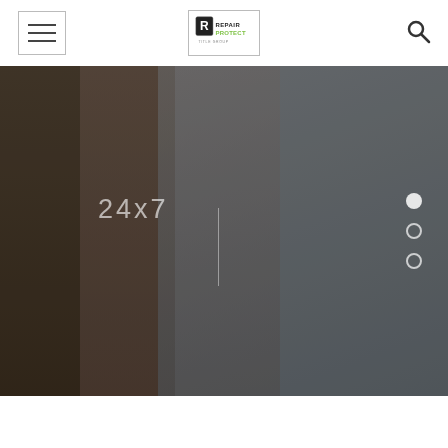[Figure (logo): Repair Protect logo with R shield icon and company name]
[Figure (photo): Hero banner showing service technician with tools and customers in background with dark overlay. Text '24x7' displayed with vertical divider line. Three carousel navigation dots on right side.]